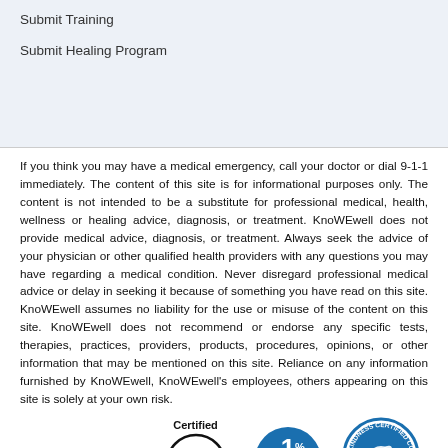Submit Training
Submit Healing Program
If you think you may have a medical emergency, call your doctor or dial 9-1-1 immediately. The content of this site is for informational purposes only. The content is not intended to be a substitute for professional medical, health, wellness or healing advice, diagnosis, or treatment. KnoWEwell does not provide medical advice, diagnosis, or treatment. Always seek the advice of your physician or other qualified health providers with any questions you may have regarding a medical condition. Never disregard professional medical advice or delay in seeking it because of something you have read on this site. KnoWEwell assumes no liability for the use or misuse of the content on this site. KnoWEwell does not recommend or endorse any specific tests, therapies, practices, providers, products, procedures, opinions, or other information that may be mentioned on this site. Reliance on any information furnished by KnoWEwell, KnoWEwell's employees, others appearing on this site is solely at your own risk.
[Figure (logo): Back to top arrow button (blue)]
[Figure (logo): Certified B Corporation logo]
[Figure (logo): 1% for the Planet logo]
[Figure (logo): Kindness Certified Company logo]